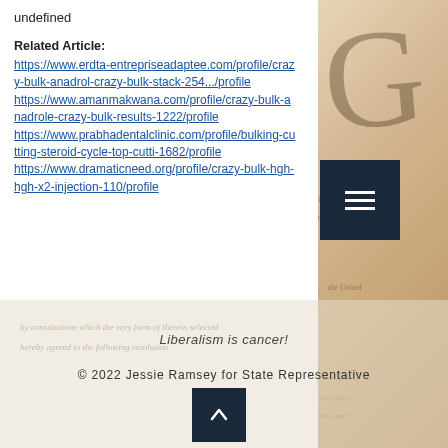undefined
Related Article:
https://www.erdta-entrepriseadaptee.com/profile/crazy-bulk-anadrol-crazy-bulk-stack-254.../profile https://www.amanmakwana.com/profile/crazy-bulk-anadrole-crazy-bulk-results-1222/profile https://www.prabhadentalclinic.com/profile/bulking-cutting-steroid-cycle-top-cutti-1682/profile https://www.dramaticneed.org/profile/crazy-bulk-hgh-hgh-x2-injection-110/profile
Liberalism is cancer!
© 2022 Jessie Ramsey for State Representative